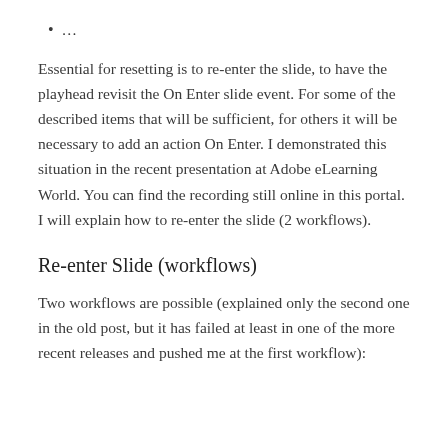…
Essential for resetting is to re-enter the slide, to have the playhead revisit the On Enter slide event. For some of the described items that will be sufficient, for others it will be necessary to add an action On Enter. I demonstrated this situation in the recent presentation at Adobe eLearning World. You can find the recording still online in this portal. I will explain how to re-enter the slide (2 workflows).
Re-enter Slide (workflows)
Two workflows are possible (explained only the second one in the old post, but it has failed at least in one of the more recent releases and pushed me at the first workflow):